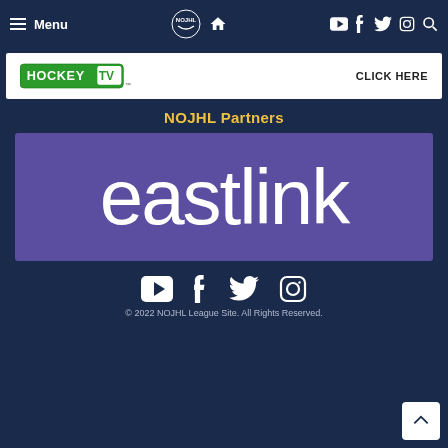Menu | NOJHL logo | Home | YouTube | Facebook | Twitter | Instagram | Search
[Figure (logo): HockeyTV banner advertisement with HOCKEY TV logo on left and CLICK HERE text on right]
NOJHL Partners
[Figure (logo): Eastlink sponsor logo — white lowercase 'eastlink' text on purple/violet background]
Social media icons: YouTube, Facebook, Twitter, Instagram
© 2022 NOJHL League Site. All Rights Reserved.